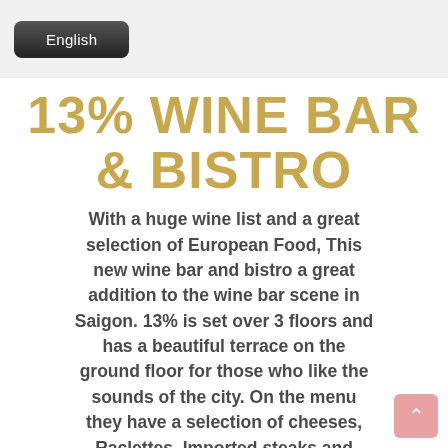English
13% WINE BAR & BISTRO
With a huge wine list and a great selection of European Food, This new wine bar and bistro a great addition to the wine bar scene in Saigon. 13% is set over 3 floors and has a beautiful terrace on the ground floor for those who like the sounds of the city. On the menu they have a selection of cheeses, Raclettes, Imported steaks and terrines. Check out their Facebook page for more information on some of their great events and nights out throughout the week. So